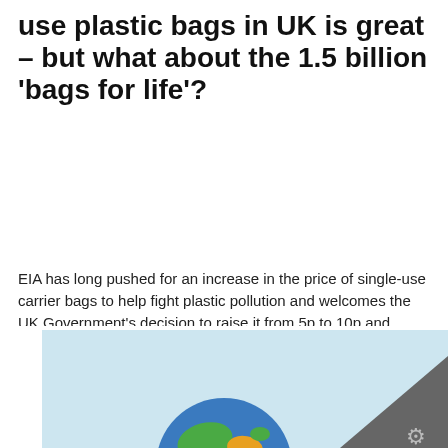use plastic bags in UK is great – but what about the 1.5 billion 'bags for life'?
EIA has long pushed for an increase in the price of single-use carrier bags to help fight plastic pollution and welcomes the UK Government's decision to raise it from 5p to 10p and extend the charge to all businesses in England from 21 May
AREAS OF WORK:  Ocean
CAMPAIGNS:  Plastic pollution
[Figure (photo): Light blue background image area with a colorful globe/earth illustration partially visible at the bottom center, and a dark grey triangle in the bottom-right corner with a gear/settings icon.]